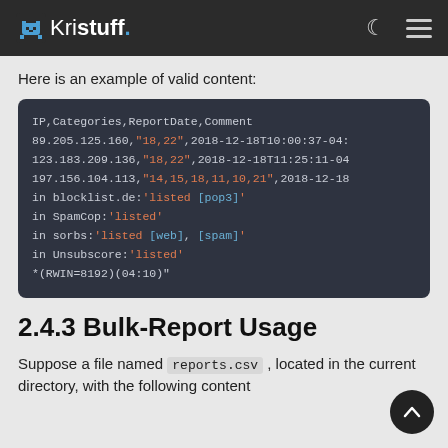Kristuff.
Here is an example of valid content:
[Figure (screenshot): Dark-themed code block showing CSV data with IP addresses, categories (quoted strings in orange), dates, and comment fields including blocklist, SpamCop, sorbs, Unsubscore entries and a RWIN value]
2.4.3 Bulk-Report Usage
Suppose a file named reports.csv , located in the current directory, with the following content